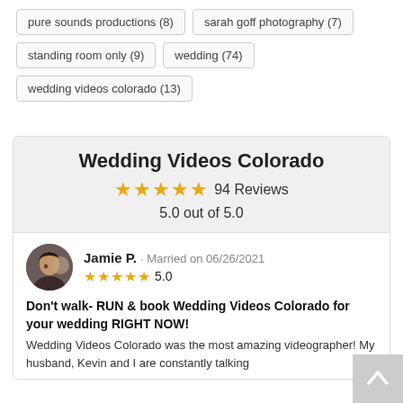pure sounds productions (8)
sarah goff photography (7)
standing room only (9)
wedding (74)
wedding videos colorado (13)
Wedding Videos Colorado
94 Reviews
5.0 out of 5.0
Jamie P. · Married on 06/26/2021
5.0
Don't walk- RUN & book Wedding Videos Colorado for your wedding RIGHT NOW!
Wedding Videos Colorado was the most amazing videographer! My husband, Kevin and I are constantly talking